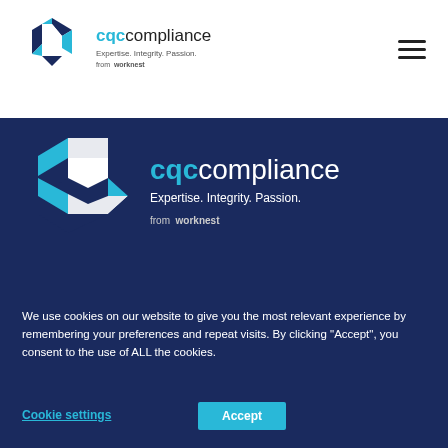[Figure (logo): CQC Compliance logo in header — hexagonal icon in dark navy and cyan blue, with text 'cqccompliance', tagline 'Expertise. Integrity. Passion.' and 'from worknest']
[Figure (logo): Hamburger/menu icon (three horizontal lines) in top right header]
[Figure (logo): CQC Compliance large logo on dark navy hero banner — large hexagonal icon in white and cyan, large text 'cqccompliance', 'Expertise. Integrity. Passion.', 'from worknest']
We use cookies on our website to give you the most relevant experience by remembering your preferences and repeat visits. By clicking "Accept", you consent to the use of ALL the cookies.
Cookie settings
Accept